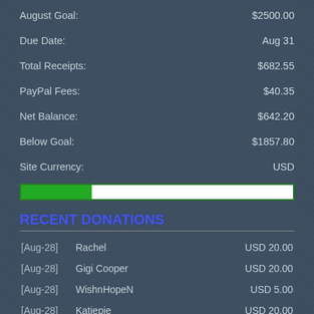| Label | Value |
| --- | --- |
| August Goal: | $2500.00 |
| Due Date: | Aug 31 |
| Total Receipts: | $682.55 |
| PayPal Fees: | $40.35 |
| Net Balance: | $642.20 |
| Below Goal: | $1857.80 |
| Site Currency: | USD |
[Figure (other): Progress bar showing 26% of August goal reached, green fill on white background, labeled '26%']
RECENT DONATIONS
| Date | Donor | Amount |
| --- | --- | --- |
| [Aug-28] | Rachel | USD 20.00 |
| [Aug-28] | Gigi Cooper | USD 20.00 |
| [Aug-28] | WishnHopeN | USD 5.00 |
| [Aug-28] | Katiepie | USD 20.00 |
| [Aug-26] | melissa | USD 50.00 |
| [Aug-26] | RFWanders | EUR 5.00 |
| [Aug-26] | JulieAllana | USD 15.00 |
| [Aug-25] | Anonymous | USD 5.00 |